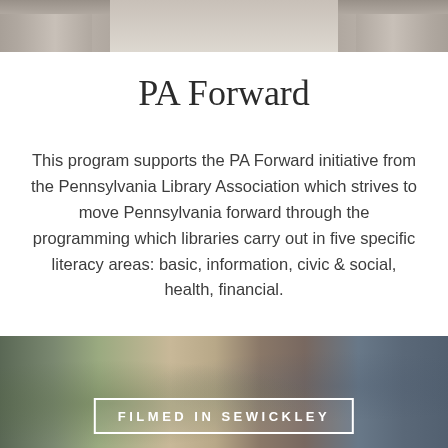[Figure (photo): Top banner photo showing architectural columns of a building, gray-toned]
PA Forward
This program supports the PA Forward initiative from the Pennsylvania Library Association which strives to move Pennsylvania forward through the programming which libraries carry out in five specific literacy areas: basic, information, civic & social, health, financial.
[Figure (photo): Street scene photo of Sewickley with text overlay 'FILMED IN SEWICKLEY' in a white bordered box]